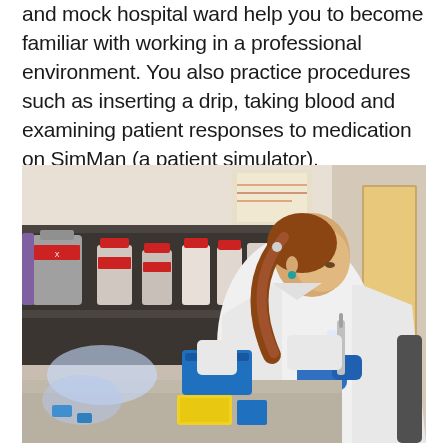and mock hospital ward help you to become familiar with working in a professional environment. You also practice procedures such as inserting a drip, taking blood and examining patient responses to medication on SimMan (a patient simulator).
[Figure (photo): A female student or researcher wearing a white lab coat and blue gloves working at a laboratory bench. She is using a pipette with laboratory equipment and chemical bottles on shelves in the background.]